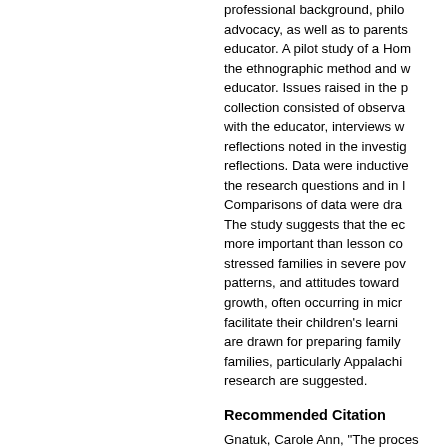professional background, philosophy, and educational advocacy, as well as to parents' descriptions of the educator. A pilot study of a Home Visitor using the ethnographic method and was conducted before the educator. Issues raised in the pilot influenced data collection consisted of observations and conversations with the educator, interviews with parents, and reflections noted in the investigator's research reflections. Data were inductively analyzed against the research questions and in light of the literature. Comparisons of data were drawn across cases. The study suggests that the educator's relationship is more important than lesson content in working with stressed families in severe poverty. Attitudes, behavior patterns, and attitudes toward learning and personal growth, often occurring in micro-episodes, can facilitate their children's learning. Recommendations are drawn for preparing family educators working with families, particularly Appalachian families. Areas for research are suggested.
Recommended Citation
Gnatuk, Carole Ann, "The process of a home educator in an Appalachian comm... Reports. 8917.